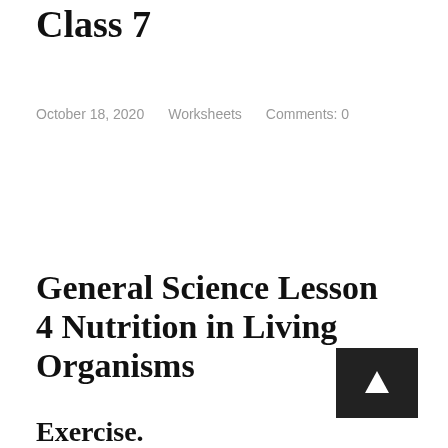Class 7
October 18, 2020    Worksheets    Comments: 0
General Science Lesson 4 Nutrition in Living Organisms
Exercise.